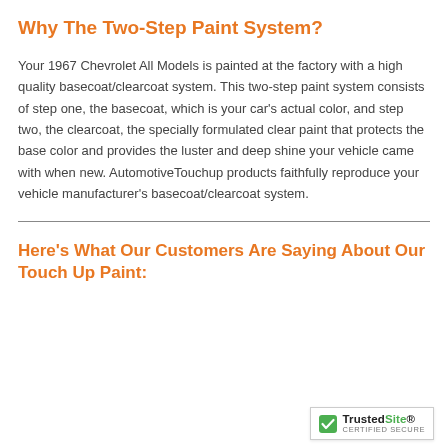Why The Two-Step Paint System?
Your 1967 Chevrolet All Models is painted at the factory with a high quality basecoat/clearcoat system. This two-step paint system consists of step one, the basecoat, which is your car's actual color, and step two, the clearcoat, the specially formulated clear paint that protects the base color and provides the luster and deep shine your vehicle came with when new. AutomotiveTouchup products faithfully reproduce your vehicle manufacturer's basecoat/clearcoat system.
Here's What Our Customers Are Saying About Our Touch Up Paint:
[Figure (logo): TrustedSite Certified Secure badge with green checkmark]